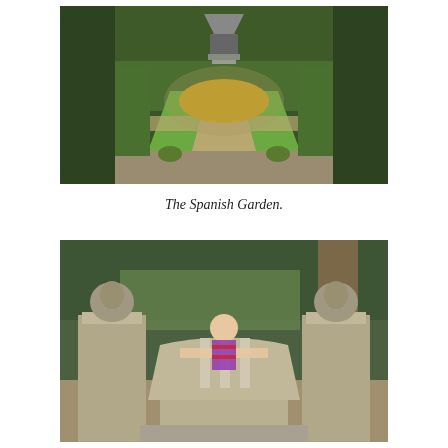[Figure (photo): Aerial view of a formal Spanish Garden with a round central pond, geometric grass lawn sections, gravel paths, potted plants, and a pavilion structure at the far end surrounded by tall hedges and trees.]
The Spanish Garden.
[Figure (photo): A person standing behind a stone sculpture resembling a ship or boat, set between two stone pillars topped with pelican statues, surrounded by garden trees and shrubs.]